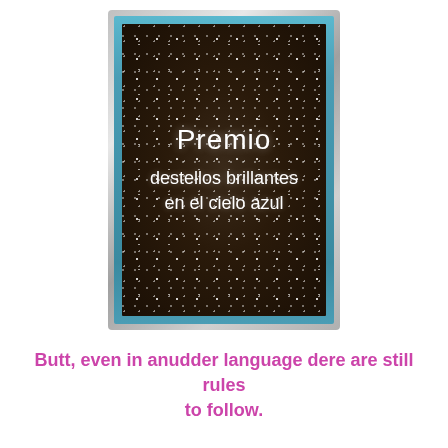[Figure (illustration): Award badge image showing 'Premio destellos brillantes en el cielo azul' (Prize of brilliant flashes in the blue sky) — white text on a dark starry/glittery brown background, surrounded by a blue inner border and a silver/grey outer decorative frame.]
Butt, even in anudder language dere are still rules to follow.